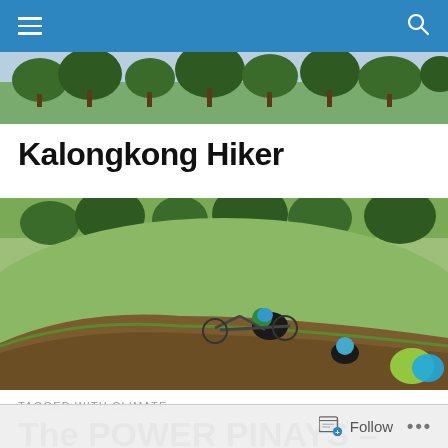Kalongkong Hiker – navigation bar with hamburger menu and search icon
[Figure (photo): Header banner showing treetops and outdoor scenery]
Kalongkong Hiker
[Figure (photo): Hero photo of a cyclist who has fallen into a muddy ditch on a grassy hillside, with a bicycle visible and another cyclist in the background]
TAGGED WITH CLIMATE
The POWER PINAYS – RP Women's Volleyball Team Profile
Follow ...